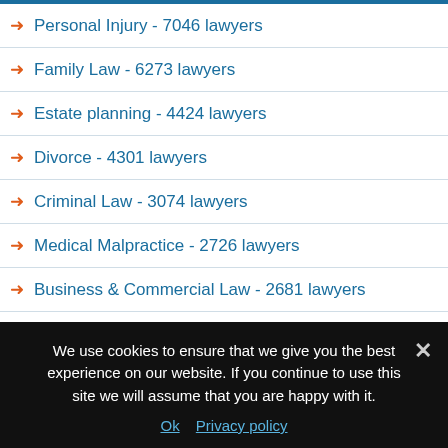Personal Injury - 7046 lawyers
Family Law - 6273 lawyers
Estate planning - 4424 lawyers
Divorce - 4301 lawyers
Criminal Law - 3074 lawyers
Medical Malpractice - 2726 lawyers
Business & Commercial Law - 2681 lawyers
Wills - 2522 lawyers
Personal Injury -- Plaintiff - 2386 lawyers
Real Estate Law - 2243 lawyers
We use cookies to ensure that we give you the best experience on our website. If you continue to use this site we will assume that you are happy with it.
Ok  Privacy policy